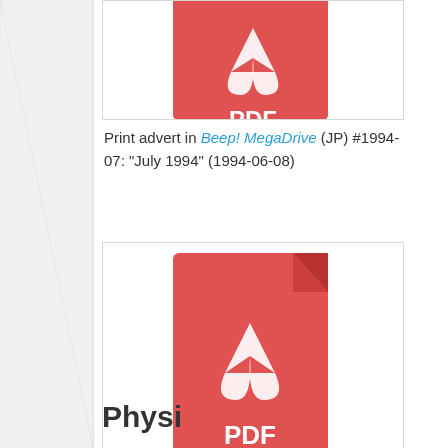[Figure (illustration): PDF file icon (red Adobe-style PDF icon, partially cropped at top)]
Print advert in Beep! MegaDrive (JP) #1994-07: "July 1994" (1994-06-08)
[Figure (illustration): PDF file icon (red Adobe-style PDF icon with Acrobat reader logo and PDF text)]
Print advert in Beep! MegaDrive (JP) #1994-08: "August 1994" (1994-07-08)
Physi...